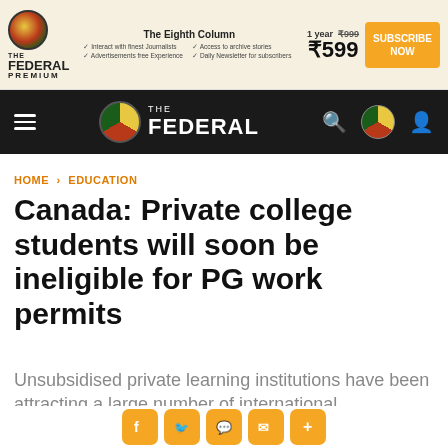[Figure (screenshot): The Federal Premium advertisement banner with logo, subscription price ₹599/year and Subscribe Now button]
THE FEDERAL navigation bar with hamburger menu, logo, search, and user icons
HOME › EDUCATION
Canada: Private college students will soon be ineligible for PG work permits
Unsubsidised private learning institutions have been attracting a large number of international
[Figure (other): Social share buttons: Facebook, Twitter, WhatsApp, Email, More]